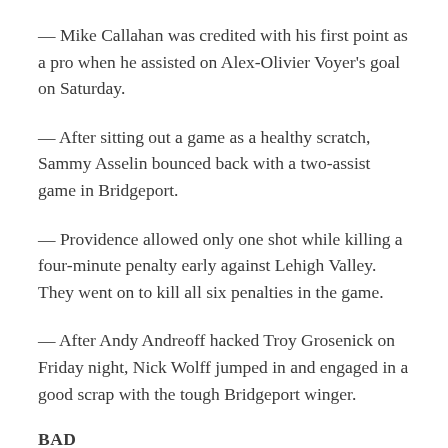— Mike Callahan was credited with his first point as a pro when he assisted on Alex-Olivier Voyer's goal on Saturday.
— After sitting out a game as a healthy scratch, Sammy Asselin bounced back with a two-assist game in Bridgeport.
— Providence allowed only one shot while killing a four-minute penalty early against Lehigh Valley. They went on to kill all six penalties in the game.
— After Andy Andreoff hacked Troy Grosenick on Friday night, Nick Wolff jumped in and engaged in a good scrap with the tough Bridgeport winger.
BAD